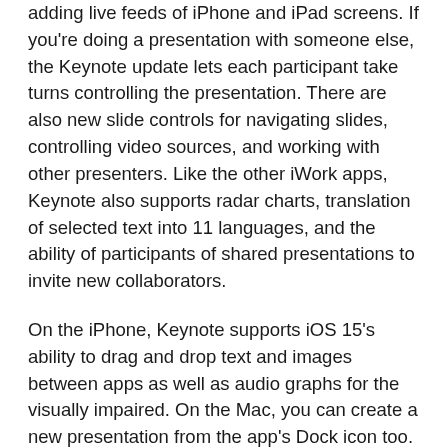adding live feeds of iPhone and iPad screens. If you're doing a presentation with someone else, the Keynote update lets each participant take turns controlling the presentation. There are also new slide controls for navigating slides, controlling video sources, and working with other presenters. Like the other iWork apps, Keynote also supports radar charts, translation of selected text into 11 languages, and the ability of participants of shared presentations to invite new collaborators.
On the iPhone, Keynote supports iOS 15's ability to drag and drop text and images between apps as well as audio graphs for the visually impaired. On the Mac, you can create a new presentation from the app's Dock icon too.